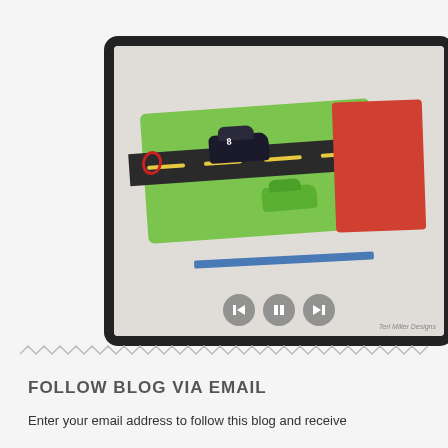[Figure (photo): A slideshow widget showing a fabric car mat rolled out with two toy cars on it — a black NASCAR-style car with number 8 on a black road strip, and a green car near a red rolled section. The mat is green felt with a black road and yellow lane markings. Media player controls (back, pause, forward) appear at the bottom of the image. Watermark reads 'Teri Miller Designs'.]
FOLLOW BLOG VIA EMAIL
Enter your email address to follow this blog and receive